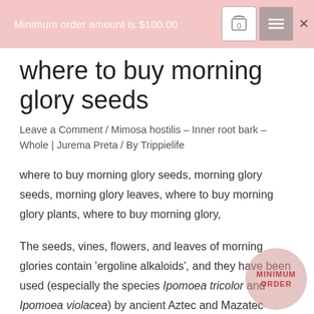Minimum order amount is $100.00
where to buy morning glory seeds
Leave a Comment / Mimosa hostilis – Inner root bark – Whole | Jurema Preta / By Trippielife
where to buy morning glory seeds, morning glory seeds, morning glory leaves, where to buy morning glory plants, where to buy morning glory,
The seeds, vines, flowers, and leaves of morning glories contain 'ergoline alkaloids', and they have been used (especially the species Ipomoea tricolor and Ipomoea violacea) by ancient Aztec and Mazatec cultures as an entheogen (a psychoactive substance